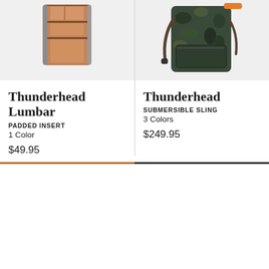[Figure (photo): Product photo of Thunderhead Lumbar Padded Insert bag, open showing interior compartments, brown/grey tones, on light grey background]
[Figure (photo): Product photo of Thunderhead Submersible Sling backpack, dark camo pattern with orange handle accent, shown from back angle, on light grey background]
Thunderhead Lumbar
PADDED INSERT
1 Color
$49.95
Thunderhead
SUBMERSIBLE SLING
3 Colors
$249.95